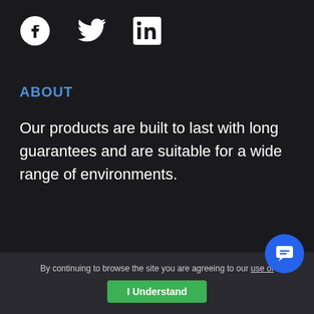[Figure (logo): Social media icons: Facebook, Twitter, LinkedIn]
ABOUT
Our products are built to last with long guarantees and are suitable for a wide range of environments.
By continuing to browse the site you are agreeing to our use of
[Figure (other): I Understand green button and chat bubble icon]